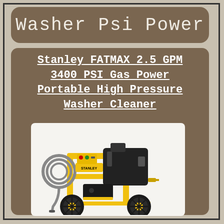Washer Psi Power
Stanley FATMAX 2.5 GPM 3400 PSI Gas Power Portable High Pressure Washer Cleaner
[Figure (photo): Stanley FATMAX gas power portable pressure washer with yellow frame, black engine, hose coiled on side, and large black wheels]